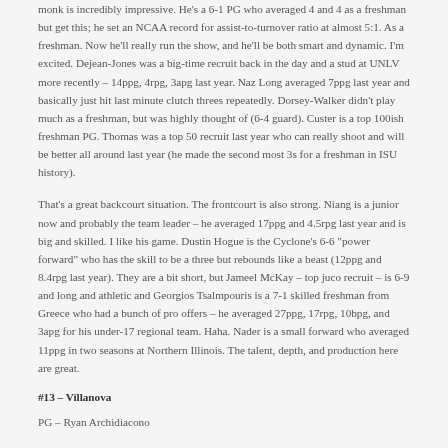...monk is incredibly impressive. He's a 6-1 PG who averaged 4 and 4 as a freshman but get this; he set an NCAA record for assist-to-turnover ratio at almost 5:1. As a freshman. Now he'll really run the show, and he'll be both smart and dynamic. I'm excited. Dejean-Jones was a big-time recruit back in the day and a stud at UNLV more recently – 14ppg, 4rpg, 3apg last year. Naz Long averaged 7ppg last year and basically just hit last minute clutch threes repeatedly. Dorsey-Walker didn't play much as a freshman, but was highly thought of (6-4 guard). Custer is a top 100ish freshman PG. Thomas was a top 50 recruit last year who can really shoot and will be better all around last year (he made the second most 3s for a freshman in ISU history).
That's a great backcourt situation. The frontcourt is also strong. Niang is a junior now and probably the team leader – he averaged 17ppg and 4.5rpg last year and is big and skilled. I like his game. Dustin Hogue is the Cyclone's 6-6 "power forward" who has the skill to be a three but rebounds like a beast (12ppg and 8.4rpg last year). They are a bit short, but Jameel McKay – top juco recruit – is 6-9 and long and athletic and Georgios Tsalmpouris is a 7-1 skilled freshman from Greece who had a bunch of pro offers – he averaged 27ppg, 17rpg, 10bpg, and 3apg for his under-17 regional team. Haha. Nader is a small forward who averaged 11ppg in two seasons at Northern Illinois. The talent, depth, and production here are great.
#13 – Villanova
PG – Ryan Archidiacono